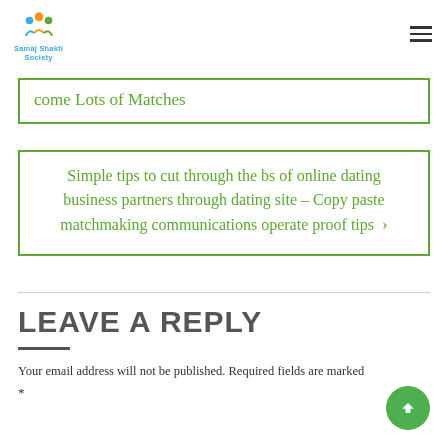[Figure (logo): Samaj Shakti Society logo with colorful icon and blue/teal text]
come Lots of Matches
Simple tips to cut through the bs of online dating business partners through dating site – Copy paste matchmaking communications operate proof tips ›
LEAVE A REPLY
Your email address will not be published. Required fields are marked *